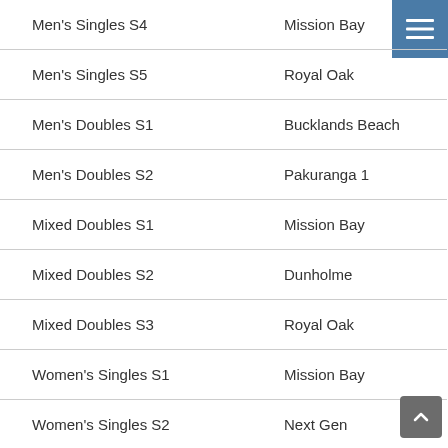| Event | Venue |
| --- | --- |
| Men's Singles S4 | Mission Bay |
| Men's Singles S5 | Royal Oak |
| Men's Doubles S1 | Buckland's Beach |
| Men's Doubles S2 | Pakuranga 1 |
| Mixed Doubles S1 | Mission Bay |
| Mixed Doubles S2 | Dunholme |
| Mixed Doubles S3 | Royal Oak |
| Women's Singles S1 | Mission Bay |
| Women's Singles S2 | Next Gen |
| Women's Doubles S1 | ... |